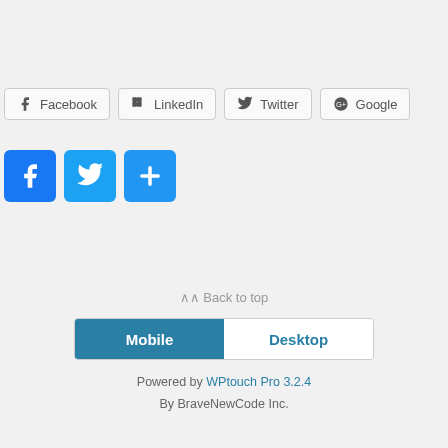[Figure (screenshot): Row of four social share buttons with outlines: Facebook, LinkedIn, Twitter, Google+]
[Figure (screenshot): Three solid colored icon buttons: Facebook (blue f), Twitter (blue bird), AddThis (blue plus)]
⋀ Back to top
[Figure (screenshot): Toggle bar with Mobile (active, teal background) and Desktop (white background, teal text)]
Powered by WPtouch Pro 3.2.4
By BraveNewCode Inc.